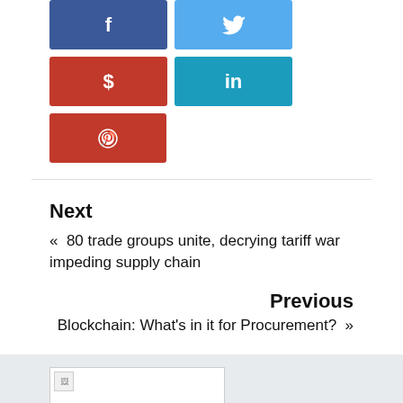[Figure (screenshot): Social share buttons grid: Facebook (blue), Twitter (light blue), Dollar sign (red), LinkedIn (teal), Pinterest (red)]
Next
«  80 trade groups unite, decrying tariff war impeding supply chain
Previous
Blockchain: What's in it for Procurement?  »
[Figure (photo): Author image placeholder in bottom gray section]